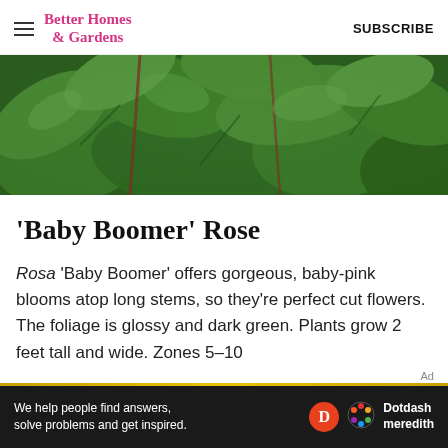Better Homes & Gardens  SUBSCRIBE
[Figure (photo): Close-up photo of dark green glossy rose foliage with leaves visible, cropped banner style]
'Baby Boomer' Rose
Rosa 'Baby Boomer' offers gorgeous, baby-pink blooms atop long stems, so they're perfect cut flowers. The foliage is glossy and dark green. Plants grow 2 feet tall and wide. Zones 5–10
Ad
[Figure (logo): Dotdash Meredith advertisement banner with text: We help people find answers, solve problems and get inspired. Dotdash meredith logo with colorful flower icon.]